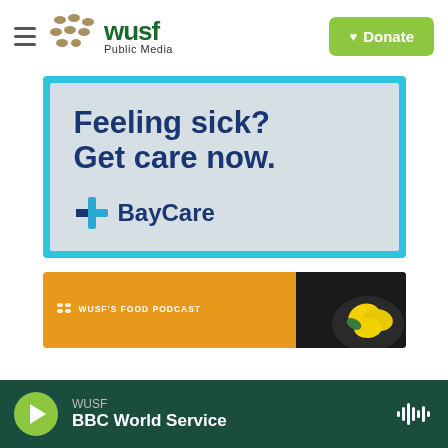[Figure (logo): WUSF Public Media logo with hamburger menu and Donate button]
[Figure (illustration): BayCare advertisement: 'Feeling sick? Get care now.' with BayCare logo on light blue-grey textured background with teal border]
[Figure (illustration): WUSF's Food Podcast thumbnail on orange background with lemons on dark plate]
[Figure (other): Audio player bar: WUSF BBC World Service, play button, waveform icon on dark green background]